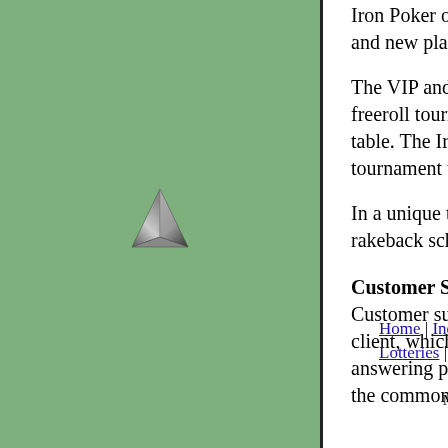[Figure (logo): Metallic triangle/pyramid logo on green sidebar background]
Iron Poker offers a new of promotions for new and new player freerolls.
The VIP and loyalty program grants players freeroll tournaments. Players earn both Iron table. The Iron Points go toward increasing tournament tokens or cash bonuses.
In a unique twist, Iron Poker allows player to rakeback scheme, which deposits cash into
Customer Support
Customer support is available 24/7 via ema client, which is the fastest option. The supp answering player inquiries. The FAQ sectio the common player questions.
Home | Index | Information | Li Lotteries | Casino Gambling | Ga
This docu Material Copyright ©